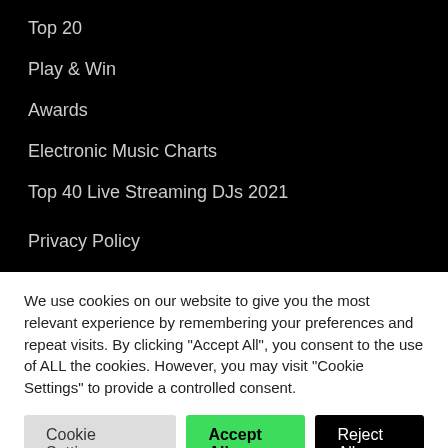Top 20
Play & Win
Awards
Electronic Music Charts
Top 40 Live Streaming DJs 2021
Privacy Policy
We use cookies on our website to give you the most relevant experience by remembering your preferences and repeat visits. By clicking "Accept All", you consent to the use of ALL the cookies. However, you may visit "Cookie Settings" to provide a controlled consent.
Cookie Settings | Accept All | Reject All